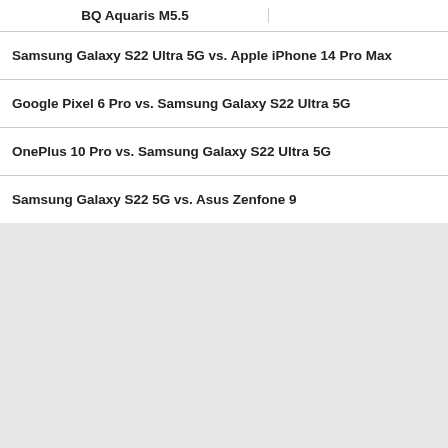BQ Aquaris M5.5
Samsung Galaxy S22 Ultra 5G vs. Apple iPhone 14 Pro Max
Google Pixel 6 Pro vs. Samsung Galaxy S22 Ultra 5G
OnePlus 10 Pro vs. Samsung Galaxy S22 Ultra 5G
Samsung Galaxy S22 5G vs. Asus Zenfone 9